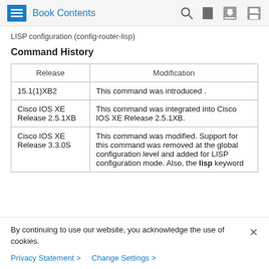Book Contents
LISP configuration (config-router-lisp)
Command History
| Release | Modification |
| --- | --- |
| 15.1(1)XB2 | This command was introduced . |
| Cisco IOS XE Release 2.5.1XB | This command was integrated into Cisco IOS XE Release 2.5.1XB. |
| Cisco IOS XE Release 3.3.0S | This command was modified. Support for this command was removed at the global configuration level and added for LISP configuration mode. Also, the lisp keyword |
By continuing to use our website, you acknowledge the use of cookies.
Privacy Statement > Change Settings >